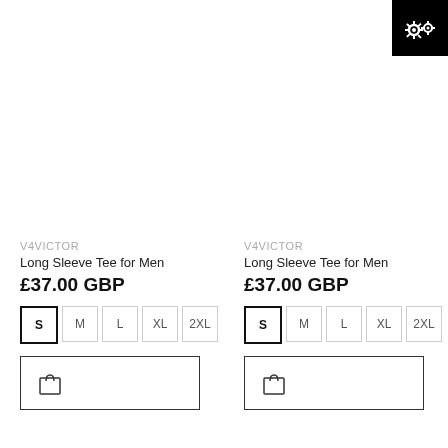[Figure (screenshot): Settings/gear icon on black background, top-right corner]
V4VICTOR
Long Sleeve Tee for Men
£37.00 GBP
S  M  L  XL  2XL
[Figure (screenshot): Add to cart button with shopping bag icon, left product]
V4VICTOR
Long Sleeve Tee for Men
£37.00 GBP
S  M  L  XL  2XL
[Figure (screenshot): Add to cart button with shopping bag icon, right product]